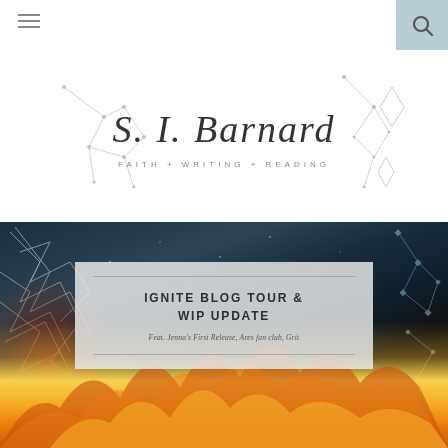≡ [navigation menu] [search]
[Figure (logo): S. I. Bernard blog logo with constellation line art decorations and tagline FAITH + WRITING + READING in serif script]
[Figure (photo): Dark background with fire, shattered glass debris, and constellation overlays. Center white semi-transparent box with title IGNITE BLOG TOUR & WIP UPDATE and subtitle Feat. Jenna's First Release, Ares fan club, Grit]
IGNITE BLOG TOUR & WIP UPDATE
Feat. Jenna's First Release, Ares fan club, Grit